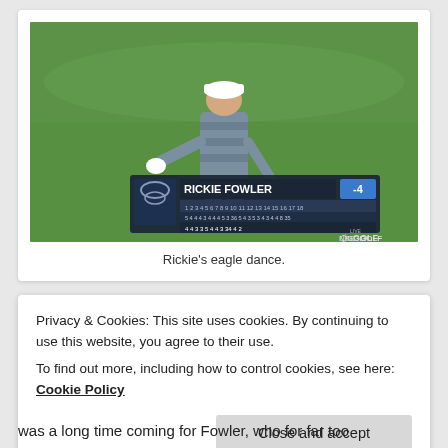[Figure (screenshot): A golf player (Rickie Fowler) on the fairway wearing a white cap and grey polo shirt, with a TV broadcast scoreboard overlay showing 'RICKIE FOWLER -4' and hole scores. NBC Golf live watermark visible in the bottom right.]
Rickie's eagle dance.
Privacy & Cookies: This site uses cookies. By continuing to use this website, you agree to their use.
To find out more, including how to control cookies, see here: Cookie Policy
was a long time coming for Fowler, who for far too